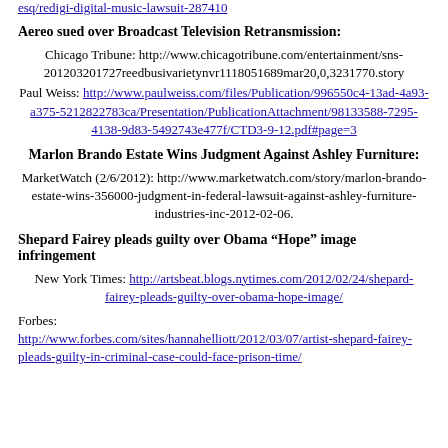esq/redigi-digital-music-lawsuit-287410
Aereo sued over Broadcast Television Retransmission:
Chicago Tribune: http://www.chicagotribune.com/entertainment/sns-201203201727reedbusivarietynvr1118051689mar20,0,3231770.story
Paul Weiss: http://www.paulweiss.com/files/Publication/996550c4-13ad-4a93-a375-5212822783ca/Presentation/PublicationAttachment/98133588-7295-4138-9d83-5492743e477f/CTD3-9-12.pdf#page=3
Marlon Brando Estate Wins Judgment Against Ashley Furniture:
MarketWatch (2/6/2012): http://www.marketwatch.com/story/marlon-brando-estate-wins-356000-judgment-in-federal-lawsuit-against-ashley-furniture-industries-inc-2012-02-06.
Shepard Fairey pleads guilty over Obama “Hope” image infringement
New York Times: http://artsbeat.blogs.nytimes.com/2012/02/24/shepard-fairey-pleads-guilty-over-obama-hope-image/
Forbes: http://www.forbes.com/sites/hannahelliott/2012/03/07/artist-shepard-fairey-pleads-guilty-in-criminal-case-could-face-prison-time/